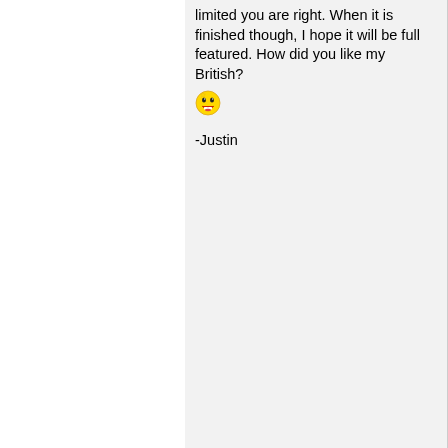limited you are right. When it is finished though, I hope it will be full featured. How did you like my British? 😄

-Justin
Top
April 16, 2006 - 12:42am (Reply to #23) #24
iMartyr
Offline
Not True
@ John Tiddly Wiki on